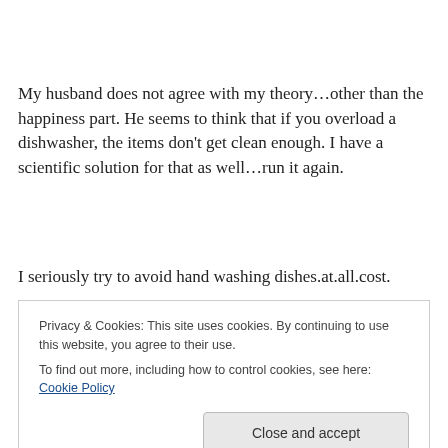My husband does not agree with my theory…other than the happiness part. He seems to think that if you overload a dishwasher, the items don't get clean enough. I have a scientific solution for that as well…run it again.
I seriously try to avoid hand washing dishes.at.all.cost.
But something strange has happened. As the kids and I
Privacy & Cookies: This site uses cookies. By continuing to use this website, you agree to their use. To find out more, including how to control cookies, see here: Cookie Policy
It's time spent together that wouldn't normally happen. The